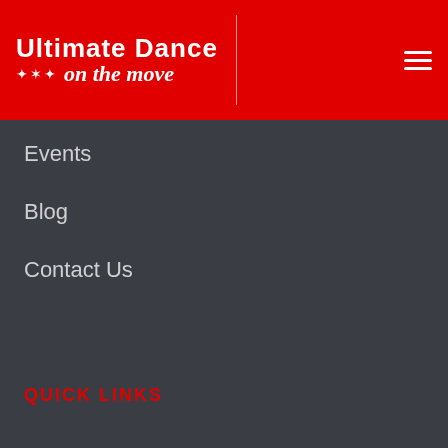Ultimate Dance on the move
Events
Blog
Contact Us
QUICK LINKS
Job Openings
Policies
Birthday Parties
Ultimate Dance Competition Team